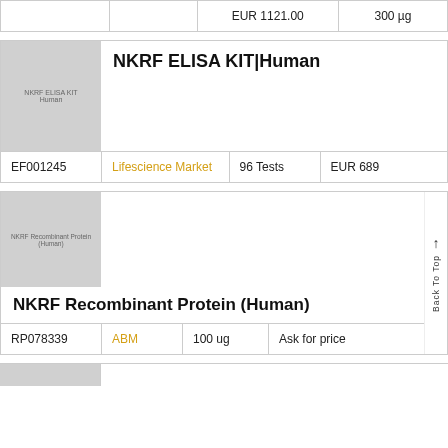|  |  | Price | Quantity |
| --- | --- | --- | --- |
|  |  | EUR 1121.00 | 300 µg |
[Figure (photo): Product image placeholder for NKRF ELISA KIT Human]
NKRF ELISA KIT|Human
| ID | Supplier | Size | Price |
| --- | --- | --- | --- |
| EF001245 | Lifescience Market | 96 Tests | EUR 689 |
[Figure (photo): Product image placeholder for NKRF Recombinant Protein (Human)]
NKRF Recombinant Protein (Human)
| ID | Supplier | Size | Price |
| --- | --- | --- | --- |
| RP078339 | ABM | 100 ug | Ask for price |